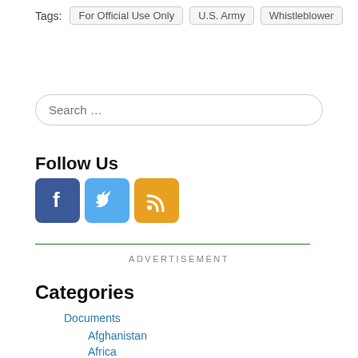Tags:  For Official Use Only  U.S. Army  Whistleblower
Search …
Follow Us
[Figure (infographic): Social media icons: Facebook (blue), Twitter (light blue), RSS feed (orange)]
ADVERTISEMENT
Categories
Documents
Afghanistan
Africa